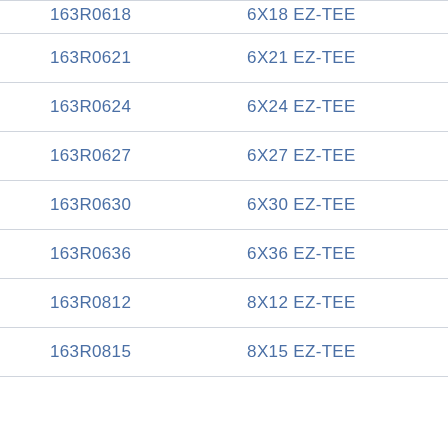| Part Number | Description |
| --- | --- |
| 163R0618 | 6X18 EZ-TEE |
| 163R0621 | 6X21 EZ-TEE |
| 163R0624 | 6X24 EZ-TEE |
| 163R0627 | 6X27 EZ-TEE |
| 163R0630 | 6X30 EZ-TEE |
| 163R0636 | 6X36 EZ-TEE |
| 163R0812 | 8X12 EZ-TEE |
| 163R0815 | 8X15 EZ-TEE |